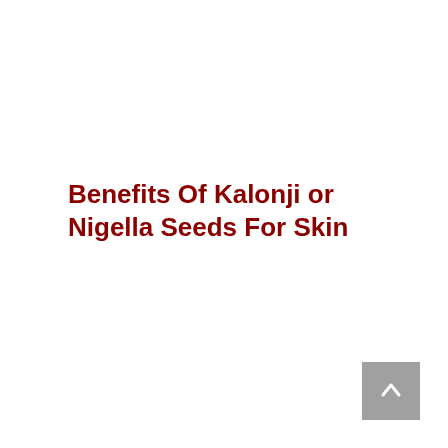Benefits Of Kalonji or Nigella Seeds For Skin